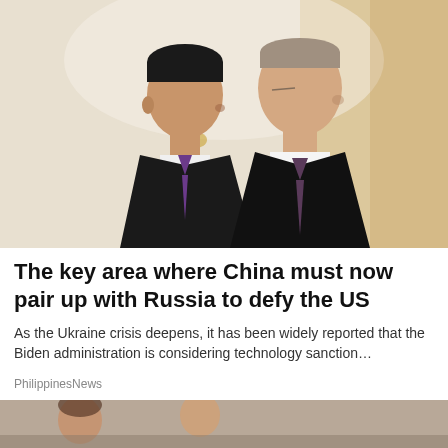[Figure (photo): Two men in dark suits standing in profile view in an ornate room. The man on the left wears a dark suit with a purple tie. The man on the right wears a dark suit with a patterned tie and white shirt. A golden decorative ornament is visible in the background. The background is cream/white and warm golden-orange on the right.]
The key area where China must now pair up with Russia to defy the US
As the Ukraine crisis deepens, it has been widely reported that the Biden administration is considering technology sanction…
PhilippinesNews
[Figure (photo): Partial view of a second news article photo at the bottom of the page, partially cut off.]